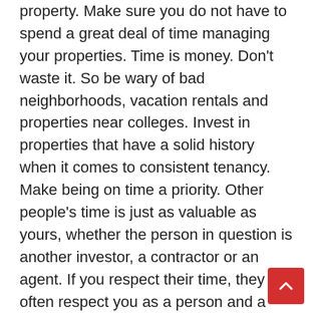property. Make sure you do not have to spend a great deal of time managing your properties. Time is money. Don't waste it. So be wary of bad neighborhoods, vacation rentals and properties near colleges. Invest in properties that have a solid history when it comes to consistent tenancy. Make being on time a priority. Other people's time is just as valuable as yours, whether the person in question is another investor, a contractor or an agent. If you respect their time, they will often respect you as a person and a business associate. As a result, you could create lasting relationships that benefit your end goals.
Always be prepared to calculate before you make an investment in real estate. Calculate